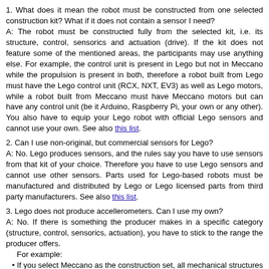1. What does it mean the robot must be constructed from one selected construction kit? What if it does not contain a sensor I need?
A: The robot must be constructed fully from the selected kit, i.e. its structure, control, sensorics and actuation (drive). If the kit does not feature some of the mentioned areas, the participants may use anything else. For example, the control unit is present in Lego but not in Meccano while the propulsion is present in both, therefore a robot built from Lego must have the Lego control unit (RCX, NXT, EV3) as well as Lego motors, while a robot built from Meccano must have Meccano motors but can have any control unit (be it Arduino, Raspberry Pi, your own or any other). You also have to equip your Lego robot with official Lego sensors and cannot use your own. See also this list.
2. Can I use non-original, but commercial sensors for Lego?
A: No. Lego produces sensors, and the rules say you have to use sensors from that kit of your choice. Therefore you have to use Lego sensors and cannot use other sensors. Parts used for Lego-based robots must be manufactured and distributed by Lego or Lego licensed parts from third party manufacturers. See also this list.
3. Lego does not produce accellerometers. Can I use my own?
A: No. If there is something the producer makes in a specific category (structure, control, sensorics, actuation), you have to stick to the range the producer offers.
   For example:
   • If you select Meccano as the construction set, all mechanical structures and motors must be from Meccano as Meccano produces it. However, sensors and control unit can be whatever you like because Meccano does not produce sensors nor control units.
   • If you select Lego as the construction set, all mechanical structures,